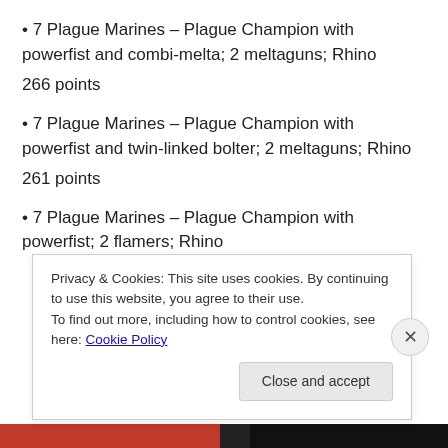• 7 Plague Marines – Plague Champion with powerfist and combi-melta; 2 meltaguns; Rhino
266 points
• 7 Plague Marines – Plague Champion with powerfist and twin-linked bolter; 2 meltaguns; Rhino
261 points
• 7 Plague Marines – Plague Champion with powerfist; 2 flamers; Rhino
Privacy & Cookies: This site uses cookies. By continuing to use this website, you agree to their use. To find out more, including how to control cookies, see here: Cookie Policy